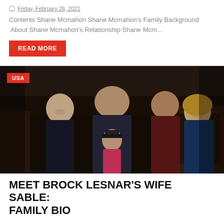Friday, February 26, 2021
Contents Shane Mcmahon Shane Mcmahon's Family Background  About Shane Mcmahon's Relationship Shane Mcm...
READ MORE
[Figure (photo): Family group photo of five people including adults and children posing inside a restaurant, with a red USA badge overlay in the top left corner.]
MEET BROCK LESNAR'S WIFE SABLE: FAMILY BIO